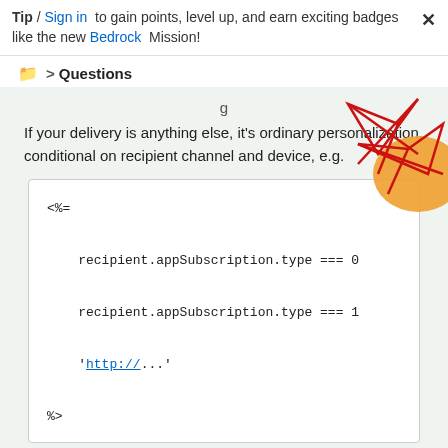Tip / Sign in to gain points, level up, and earn exciting badges like the new Bedrock Mission!
Questions
[Figure (illustration): Decorative geometric graphic with red polygon lines and orange shape in upper right corner]
If your delivery is anything else, it's ordinary personalization, conditional on recipient channel and device, e.g.
<=
  recipient.appSubscription.type === 0
  recipient.appSubscription.type === 1
  'http://...'
%>
NB recipient.appSubscription won't work here since